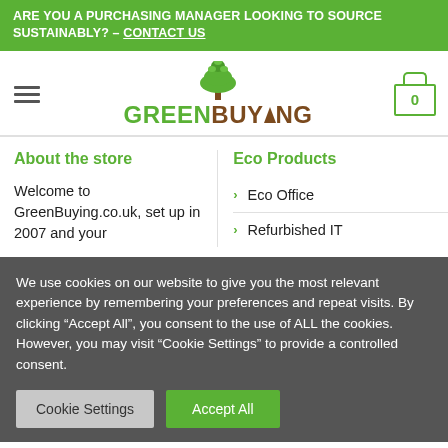ARE YOU A PURCHASING MANAGER LOOKING TO SOURCE SUSTAINABLY? – CONTACT US
[Figure (logo): GreenBuying logo with green tree icon and GREENBUYING text in green and brown]
About the store
Eco Products
Welcome to GreenBuying.co.uk, set up in 2007 and your
Eco Office
Refurbished IT
We use cookies on our website to give you the most relevant experience by remembering your preferences and repeat visits. By clicking "Accept All", you consent to the use of ALL the cookies. However, you may visit "Cookie Settings" to provide a controlled consent.